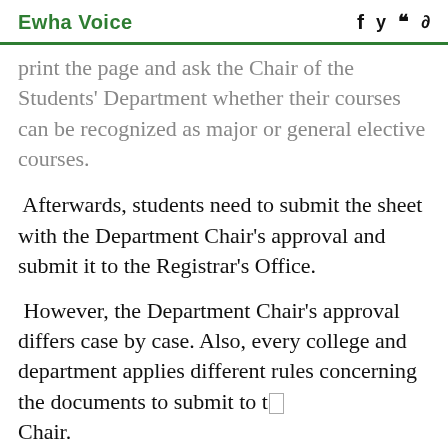Ewha Voice
print the page and ask the Chair of the Students' Department whether their courses can be recognized as major or general elective courses.
Afterwards, students need to submit the sheet with the Department Chair's approval and submit it to the Registrar's Office.
However, the Department Chair's approval differs case by case. Also, every college and department applies different rules concerning the documents to submit to the Chair.